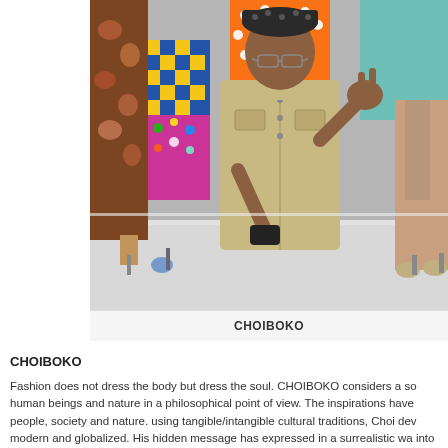[Figure (photo): A man wearing a beige military-style jacket and a patterned cap, making a peace sign gesture on a fashion runway, surrounded by models in colorful outfits]
CHOIBOKO
CHOIBOKO
Fashion does not dress the body but dress the soul. CHOIBOKO considers a so human beings and nature in a philosophical point of view. The inspirations have people, society and nature. using tangible/intangible cultural traditions, Choi dev modern and globalized. His hidden message has expressed in a surrealistic wa into glamour and modern.